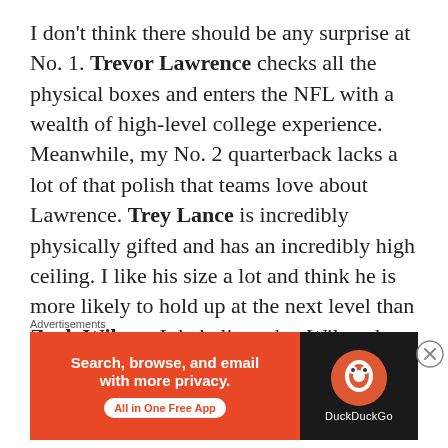I don't think there should be any surprise at No. 1. Trevor Lawrence checks all the physical boxes and enters the NFL with a wealth of high-level college experience. Meanwhile, my No. 2 quarterback lacks a lot of that polish that teams love about Lawrence. Trey Lance is incredibly physically gifted and has an incredibly high ceiling. I like his size a lot and think he is more likely to hold up at the next level than Zach Wilson. I do believe that Wilson has the best arm in this draft class, but I worry that he will not last long in the NFL. He runs with abandon and we saw that lead to a few injuries in college.
Advertisements
[Figure (other): DuckDuckGo advertisement banner with orange left panel saying 'Search, browse, and email with more privacy. All in One Free App' and dark right panel with DuckDuckGo logo]